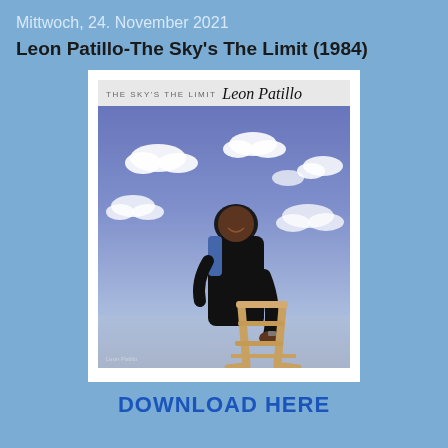Mittwoch, 24. November 2021
Leon Patillo-The Sky's The Limit (1984)
[Figure (photo): Album cover of 'The Sky's The Limit' by Leon Patillo (1984). Shows a smiling Black man in a dark jacket leaning on a wooden ladder against a blue sky with white clouds background. Text at top reads 'THE SKY'S THE LIMIT' in small print and 'Leon Patillo' in script.]
DOWNLOAD HERE